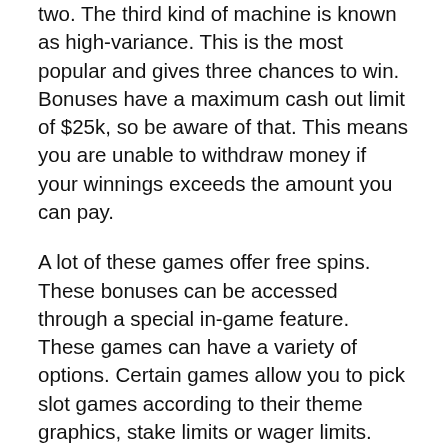two. The third kind of machine is known as high-variance. This is the most popular and gives three chances to win. Bonuses have a maximum cash out limit of $25k, so be aware of that. This means you are unable to withdraw money if your winnings exceeds the amount you can pay.
A lot of these games offer free spins. These bonuses can be accessed through a special in-game feature. These games can have a variety of options. Certain games allow you to pick slot games according to their theme graphics, stake limits or wager limits. These bonus features are available to all types of players, even those who are brand new to gambling online.
Bonuses can be a fantastic way to boost your bankroll. They can be triggered by scatters or other symbols, and are usually re-triggered after carte spider solitaire a certain number of spins. Bonuses are another method to boost free texas holdem poker your bankroll. You can